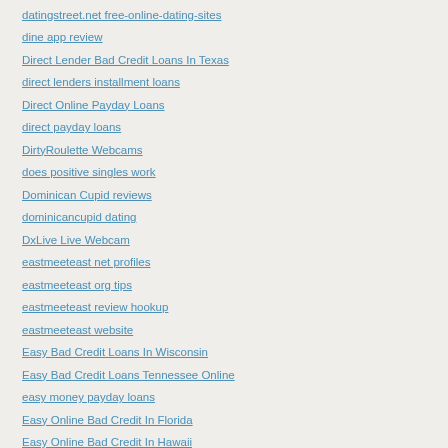datingstreet.net free-online-dating-sites
dine app review
Direct Lender Bad Credit Loans In Texas
direct lenders installment loans
Direct Online Payday Loans
direct payday loans
DirtyRoulette Webcams
does positive singles work
Dominican Cupid reviews
dominicancupid dating
DxLive Live Webcam
eastmeeteast net profiles
eastmeeteast org tips
eastmeeteast review hookup
eastmeeteast website
Easy Bad Credit Loans In Wisconsin
Easy Bad Credit Loans Tennessee Online
easy money payday loans
Easy Online Bad Credit In Florida
Easy Online Bad Credit In Hawaii